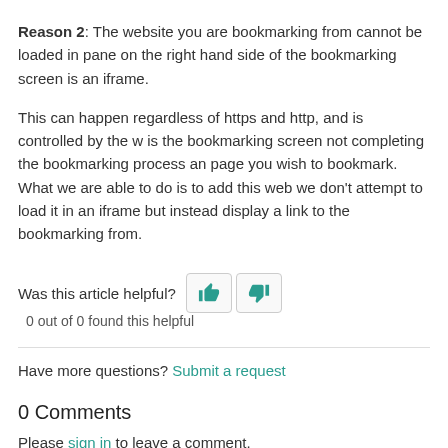Reason 2: The website you are bookmarking from cannot be loaded in pane on the right hand side of the bookmarking screen is an iframe.
This can happen regardless of https and http, and is controlled by the w is the bookmarking screen not completing the bookmarking process an page you wish to bookmark. What we are able to do is to add this web we don't attempt to load it in an iframe but instead display a link to the bookmarking from.
Was this article helpful? 0 out of 0 found this helpful
Have more questions? Submit a request
0 Comments
Please sign in to leave a comment.